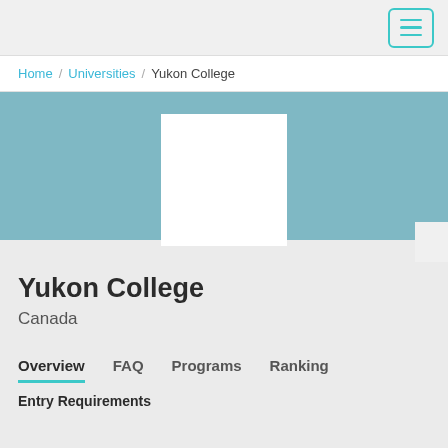Home / Universities / Yukon College
[Figure (logo): Yukon College logo placeholder — white rectangle on teal banner background]
Yukon College
Canada
Overview  FAQ  Programs  Ranking
Entry Requirements